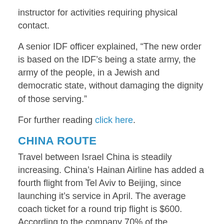instructor for activities requiring physical contact.
A senior IDF officer explained, “The new order is based on the IDF’s being a state army, the army of the people, in a Jewish and democratic state, without damaging the dignity of those serving.”
For further reading click here.
CHINA ROUTE
Travel between Israel China is steadily increasing. China’s Hainan Airline has added a fourth flight from Tel Aviv to Beijing, since launching it’s service in April. The average coach ticket for a round trip flight is $600. According to the company 70% of the passengers on the flights are Israeli and 30% Chinese. El Al and Turkish Air also fly from Tel Aviv to Beijing.
Israel’s Ministry of Tourism wants to drastically increase tourism from China from the current 50,000 visitors a year. Hotels are preparing for Chinese guests by adapting